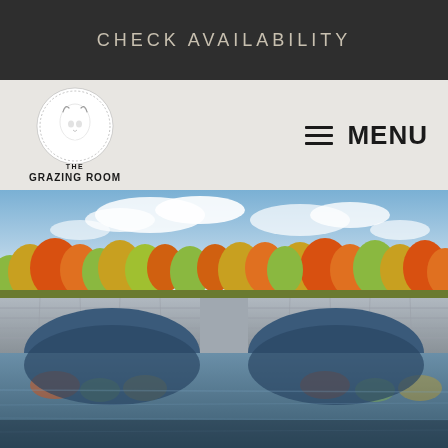CHECK AVAILABILITY
[Figure (logo): The Grazing Room logo with goat head in circular badge and text below]
MENU
[Figure (photo): Autumn scene of a stone bridge with two arches reflected in calm water, surrounded by colorful fall foliage trees under a partly cloudy sky]